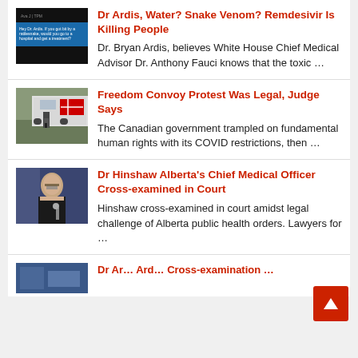[Figure (screenshot): Thumbnail for Dr Ardis article: dark background with blue overlay and small text]
Dr Ardis, Water? Snake Venom? Remdesivir Is Killing People
Dr. Bryan Ardis, believes White House Chief Medical Advisor Dr. Anthony Fauci knows that the toxic …
[Figure (photo): Thumbnail for Freedom Convoy article: person standing in front of a truck with Canadian flags]
Freedom Convoy Protest Was Legal, Judge Says
The Canadian government trampled on fundamental human rights with its COVID restrictions, then …
[Figure (photo): Thumbnail for Dr Hinshaw article: woman with glasses at a microphone]
Dr Hinshaw Alberta's Chief Medical Officer Cross-examined in Court
Hinshaw cross-examined in court amidst legal challenge of Alberta public health orders. Lawyers for …
[Figure (photo): Partial thumbnail of fourth article at bottom of page]